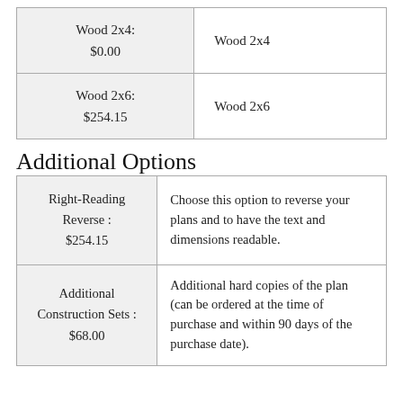| Option | Description |
| --- | --- |
| Wood 2x4:
$0.00 | Wood 2x4 |
| Wood 2x6:
$254.15 | Wood 2x6 |
Additional Options
| Option | Description |
| --- | --- |
| Right-Reading Reverse :
$254.15 | Choose this option to reverse your plans and to have the text and dimensions readable. |
| Additional Construction Sets :
$68.00 | Additional hard copies of the plan (can be ordered at the time of purchase and within 90 days of the purchase date). |